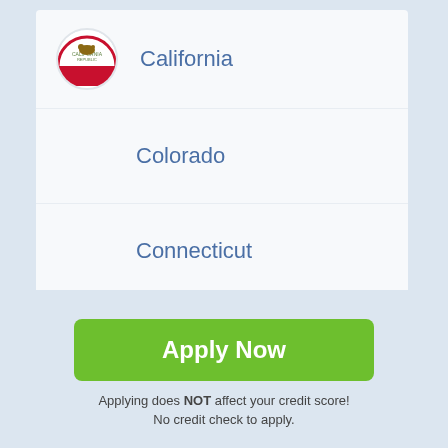California
Colorado
Connecticut
Delaware
Florida
Georgia
Apply Now
Applying does NOT affect your credit score!
No credit check to apply.